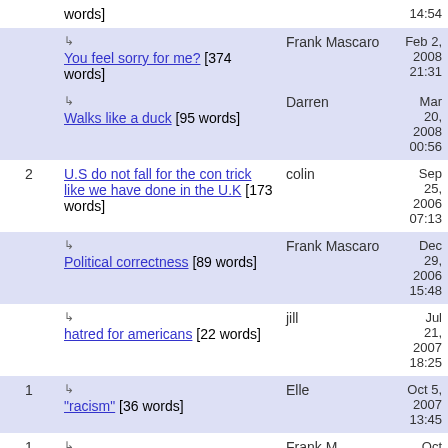|  | Title | Author | Date |
| --- | --- | --- | --- |
|  | words] |  | 14:54 |
|  | ↳ You feel sorry for me? [374 words] | Frank Mascaro | Feb 2, 2008 21:31 |
|  | ↳ Walks like a duck [95 words] | Darren | Mar 20, 2008 00:56 |
| 2 | U.S do not fall for the con trick like we have done in the U.K [173 words] | colin | Sep 25, 2006 07:13 |
|  | ↳ Political correctness [89 words] | Frank Mascaro | Dec 29, 2006 15:48 |
|  | ↳ hatred for americans [22 words] | jill | Jul 21, 2007 18:25 |
| 1 | ↳ "racism" [36 words] | Elle | Oct 5, 2007 13:45 |
| 1 | ↳ You're not a racist. [127 words] | Frank M | Oct 10, 2007 20:59 |